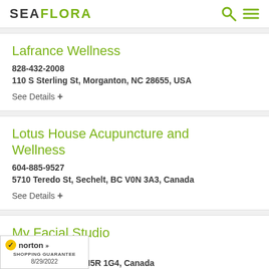SEA FLORA
Lafrance Wellness
828-432-2008
110 S Sterling St, Morganton, NC 28655, USA
See Details +
Lotus House Acupuncture and Wellness
604-885-9527
5710 Teredo St, Sechelt, BC V0N 3A3, Canada
See Details +
My Facial Studio
243
d St, Toronto, ON M5R 1G4, Canada